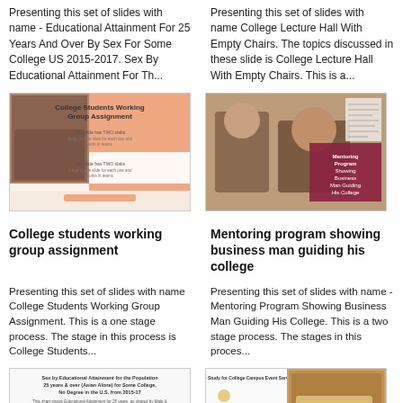Presenting this set of slides with name - Educational Attainment For 25 Years And Over By Sex For Some College US 2015-2017. Sex By Educational Attainment For Th...
Presenting this set of slides with name College Lecture Hall With Empty Chairs. The topics discussed in these slide is College Lecture Hall With Empty Chairs. This is a...
[Figure (screenshot): Thumbnail of College Students Working Group Assignment slide deck]
[Figure (screenshot): Thumbnail of Mentoring Program Showing Business Man Guiding His College slide deck]
College students working group assignment
Mentoring program showing business man guiding his college
Presenting this set of slides with name College Students Working Group Assignment. This is a one stage process. The stage in this process is College Students...
Presenting this set of slides with name - Mentoring Program Showing Business Man Guiding His College. This is a two stage process. The stages in this proces...
[Figure (screenshot): Thumbnail of Sex by Educational Attainment slide deck]
[Figure (screenshot): Thumbnail of Case Study for College Campus Event Services slide deck]